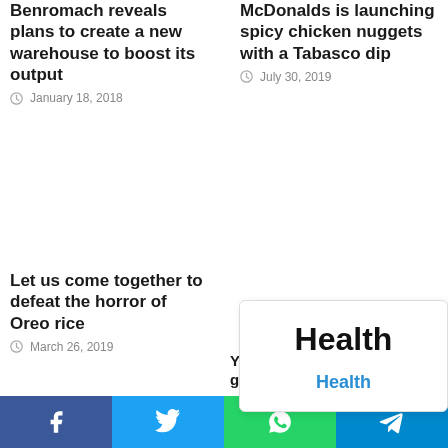Benromach reveals plans to create a new warehouse to boost its output
January 18, 2018
McDonalds is launching spicy chicken nuggets with a Tabasco dip
July 30, 2019
Let us come together to defeat the horror of Oreo rice
March 26, 2019
You wont be a goth grub in N
June 24, 2018
[Figure (other): Health category card with 'Health' text and 'Health' link]
Social share bar: Facebook, Twitter, WhatsApp, Telegram